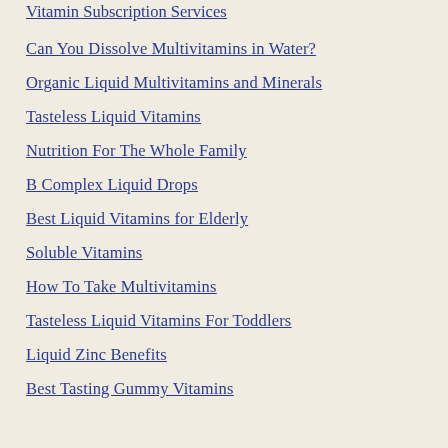Vitamin Subscription Services
Can You Dissolve Multivitamins in Water?
Organic Liquid Multivitamins and Minerals
Tasteless Liquid Vitamins
Nutrition For The Whole Family
B Complex Liquid Drops
Best Liquid Vitamins for Elderly
Soluble Vitamins
How To Take Multivitamins
Tasteless Liquid Vitamins For Toddlers
Liquid Zinc Benefits
Best Tasting Gummy Vitamins